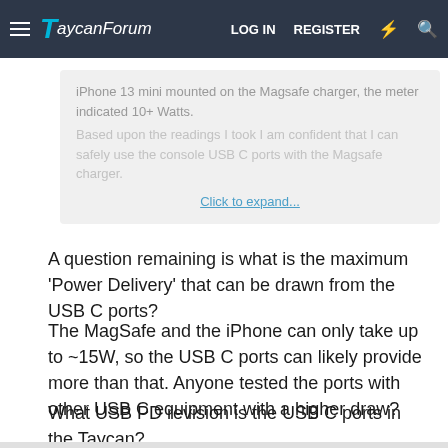TaycanForum  LOG IN  REGISTER
iPhone 13 mini mounted on the Magsafe charger, the meter indicated 10+ Watts.

Based upon the readings I took I am confident that I can safely use the console USB C ports with the Magsafe charger.

Click to expand...
A question remaining is what is the maximum 'Power Delivery' that can be drawn from the USB C ports?
The MagSafe and the iPhone can only take up to ~15W, so the USB C ports can likely provide more than that. Anyone tested the ports with other USB C equipment with a higher draw?
What USB PD revision is the USB C ports in the Taycan?
USB hardware - Wikipedia